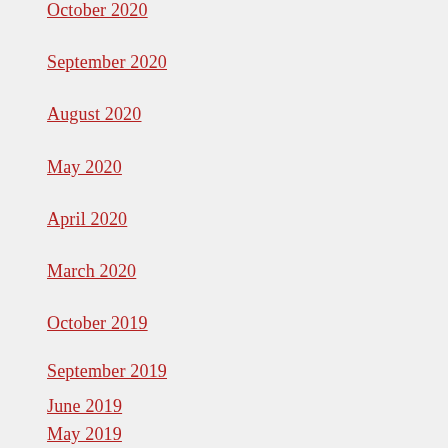October 2020
September 2020
August 2020
May 2020
April 2020
March 2020
October 2019
September 2019
June 2019
May 2019